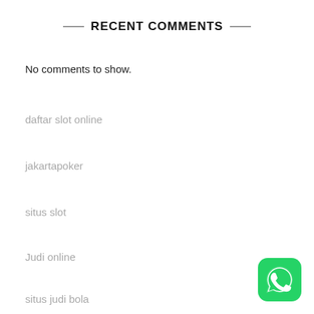RECENT COMMENTS
No comments to show.
daftar slot online
jakartapoker
situs slot
Judi online
situs judi bola
Slot Online
[Figure (logo): WhatsApp green rounded square icon with white phone handset chat bubble logo]